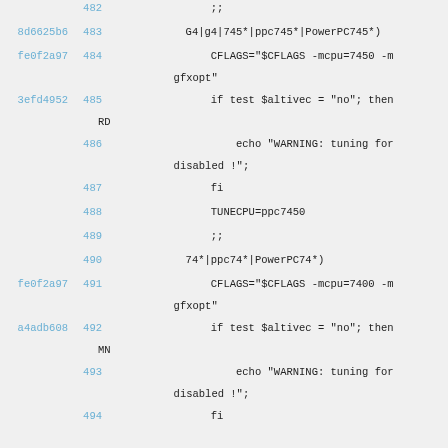482  ;;
8d6625b6  483  G4|g4|745*|ppc745*|PowerPC745*)
fe0f2a97  484  CFLAGS="$CFLAGS -mcpu=7450 -m gfxopt"
3efd4952  485  if test $altivec = "no"; then RD
486  echo "WARNING: tuning for disabled !";
487  fi
488  TUNECPU=ppc7450
489  ;;
490  74*|ppc74*|PowerPC74*)
fe0f2a97  491  CFLAGS="$CFLAGS -mcpu=7400 -m gfxopt"
a4adb608  492  if test $altivec = "no"; then MN
493  echo "WARNING: tuning for disabled !";
494  fi